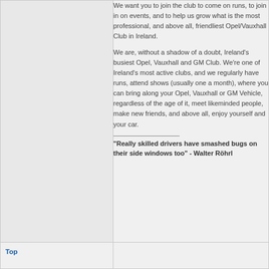We want you to join the club to come on runs, to join in on events, and to help us grow what is the most professional, and above all, friendliest Opel/Vauxhall Club in Ireland.
We are, without a shadow of a doubt, Ireland's busiest Opel, Vauxhall and GM Club. We're one of Ireland's most active clubs, and we regularly have runs, attend shows (usually one a month), where you can bring along your Opel, Vauxhall or GM Vehicle, regardless of the age of it, meet likeminded people, make new friends, and above all, enjoy yourself and your car.
"Really skilled drivers have smashed bugs on their side windows too" - Walter Röhrl
Top